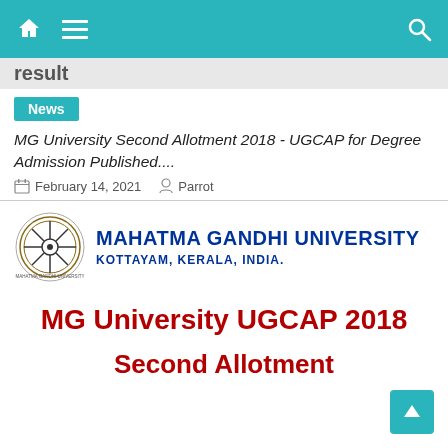result
News
MG University Second Allotment 2018 - UGCAP for Degree Admission Published....
February 14, 2021  Parrot
[Figure (logo): Mahatma Gandhi University logo with circular emblem on left, text MAHATMA GANDHI UNIVERSITY KOTTAYAM, KERALA, INDIA. on right in blue]
MG University UGCAP 2018
Second Allotment